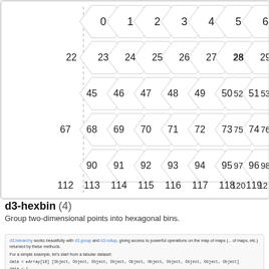[Figure (other): Hexagonal bin grid diagram showing numbered hexagons arranged in a grid pattern. Top row shows column indices 0-8, subsequent rows show hex numbers: row1: 22-31, row2: 45-53+, row3: 67-76, row4: 90-98+, row5: 112-121, row6: 135-143+. A red arrow points to hexagon 0. A dashed vertical line separates leftmost column.]
d3-hexbin (4)
Group two-dimensional points into hexagonal bins.
d3.hierarchy works beautifully with d3.group and d3.rollup, giving access to powerful operations on the map of maps (... of maps, etc.) returned by these methods.

For a simple example, let's start from a tabular dataset:

data = ▸Array[10] [Object, Object, Object, Object, Object, Object, Object, Object, Object, Object]

data = [
  {name: "Floyd Mayweather", sport: "Boxing", nation: "United States", earnings: 285},
  {name: "Lionel Messi", sport: "Soccer", nation: "Argentina", earnings: 111},
  {name: "Cristiano Ronaldo", sport: "Soccer", nation: "Portugal", earnings: 108},